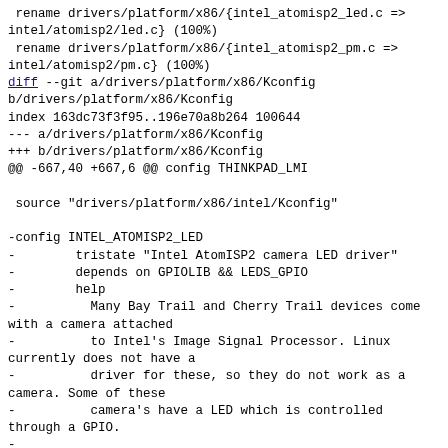rename drivers/platform/x86/{intel_atomisp2_led.c => intel/atomisp2/led.c} (100%)
 rename drivers/platform/x86/{intel_atomisp2_pm.c => intel/atomisp2/pm.c} (100%)
diff --git a/drivers/platform/x86/Kconfig b/drivers/platform/x86/Kconfig
index 163dc73f3f95..196e70a8b264 100644
--- a/drivers/platform/x86/Kconfig
+++ b/drivers/platform/x86/Kconfig
@@ -667,40 +667,6 @@ config THINKPAD_LMI

 source "drivers/platform/x86/intel/Kconfig"

-config INTEL_ATOMISP2_LED
-        tristate "Intel AtomISP2 camera LED driver"
-        depends on GPIOLIB && LEDS_GPIO
-        help
-          Many Bay Trail and Cherry Trail devices come with a camera attached
-          to Intel's Image Signal Processor. Linux currently does not have a
-          driver for these, so they do not work as a camera. Some of these
-          camera's have a LED which is controlled through a GPIO.
-
-          Some of these devices have a firmware issue where the LED gets turned
-          on at boot. This driver will turn the LED off